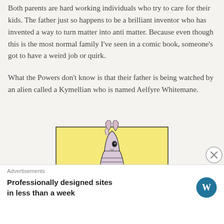Both parents are hard working individuals who try to care for their kids. The father just so happens to be a brilliant inventor who has invented a way to turn matter into anti matter. Because even though this is the most normal family I've seen in a comic book, someone's got to have a weird job or quirk.

What the Powers don't know is that their father is being watched by an alien called a Kymellian who is named Aelfyre Whitemane.
[Figure (illustration): Comic book illustration of Aelfyre Whitemane, a Kymellian alien — a horse-like humanoid alien with a striped mane, wearing banded armor, holding a dark spherical object with a star, on a yellow background.]
Advertisements
Professionally designed sites in less than a week